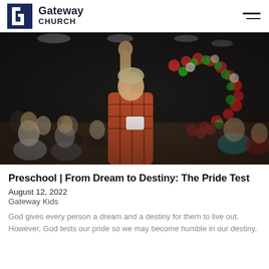Gateway Church
[Figure (photo): Children in a church auditorium, one boy with his hand raised wearing a plaid shirt, colorful heart-shaped lights in the background]
Preschool | From Dream to Destiny: The Pride Test
August 12, 2022
Gateway Kids
God gives every person a dream and a destiny for them to live out. However, God tests our pride so we may become humble in our destiny.